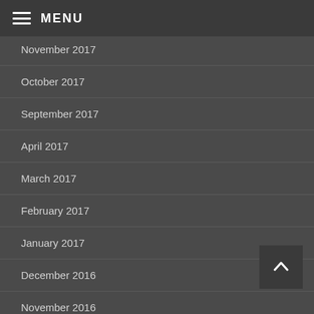MENU
November 2017
October 2017
September 2017
April 2017
March 2017
February 2017
January 2017
December 2016
November 2016
September 2016